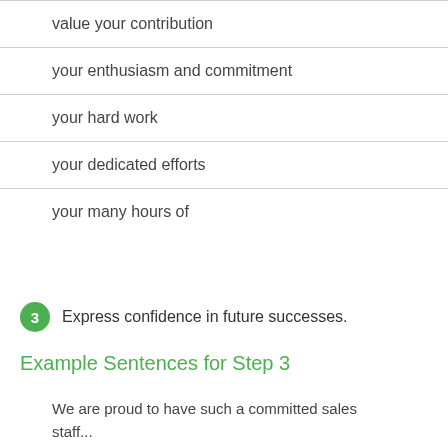value your contribution
your enthusiasm and commitment
your hard work
your dedicated efforts
your many hours of
3  Express confidence in future successes.
Example Sentences for Step 3
We are proud to have such a committed sales staff...